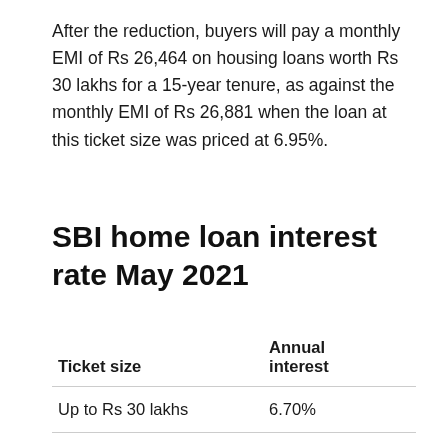After the reduction, buyers will pay a monthly EMI of Rs 26,464 on housing loans worth Rs 30 lakhs for a 15-year tenure, as against the monthly EMI of Rs 26,881 when the loan at this ticket size was priced at 6.95%.
SBI home loan interest rate May 2021
| Ticket size | Annual interest |
| --- | --- |
| Up to Rs 30 lakhs | 6.70% |
| Between Rs 31 lakhs and Rs 75 lakhs | 6.95% |